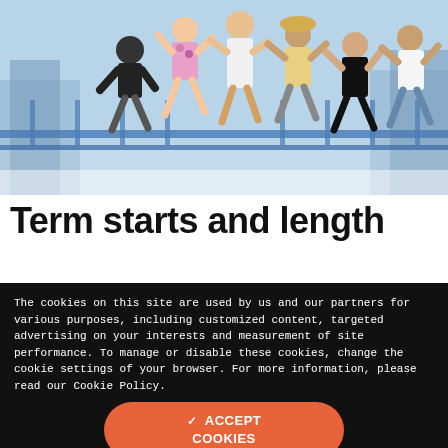[Figure (photo): Group of young people jumping energetically on a rooftop or bridge, with a city skyline in background. People are casually dressed, smiling and celebrating.]
Term starts and length
[Figure (other): Partial view of a light gray card with a blue calendar icon at the top.]
The cookies on this site are used by us and our partners for various purposes, including customized content, targeted advertising on your interests and measurement of site performance. To manage or disable these cookies, change the cookie settings of your browser. For more information, please read our Cookie Policy.
✓ ACCEPT COOKIES